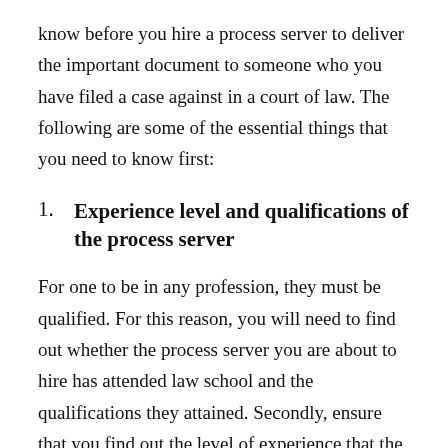know before you hire a process server to deliver the important document to someone who you have filed a case against in a court of law. The following are some of the essential things that you need to know first:
1. Experience level and qualifications of the process server
For one to be in any profession, they must be qualified. For this reason, you will need to find out whether the process server you are about to hire has attended law school and the qualifications they attained. Secondly, ensure that you find out the level of experience that the process server has in this field. The number of years they have been rendering their services will tell you the kind of services they do.